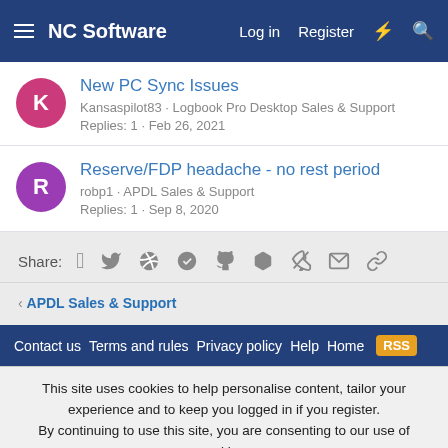NC Software  Log in  Register
New PC Sync Issues
Kansaspilot83 · Logbook Pro Desktop Sales & Support
Replies: 1 · Feb 26, 2021
Reserve/FDP headache - no rest period
robp1 · APDL Sales & Support
Replies: 1 · Sep 8, 2020
Share:
< APDL Sales & Support
Contact us  Terms and rules  Privacy policy  Help  Home
This site uses cookies to help personalise content, tailor your experience and to keep you logged in if you register. By continuing to use this site, you are consenting to our use of cookies.
Accept  Learn more...